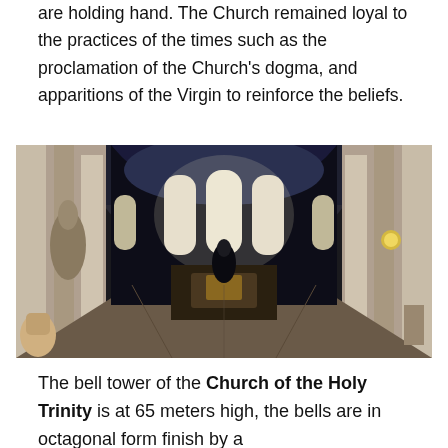are holding hand. The Church remained loyal to the practices of the times such as the proclamation of the Church's dogma, and apparitions of the Virgin to reinforce the beliefs.
[Figure (photo): Interior of the Church of the Holy Trinity showing the nave with tall columns on both sides, ornate ceiling arches, and bright stained glass windows at the far end of the altar.]
The bell tower of the Church of the Holy Trinity is at 65 meters high, the bells are in octagonal form finish by a